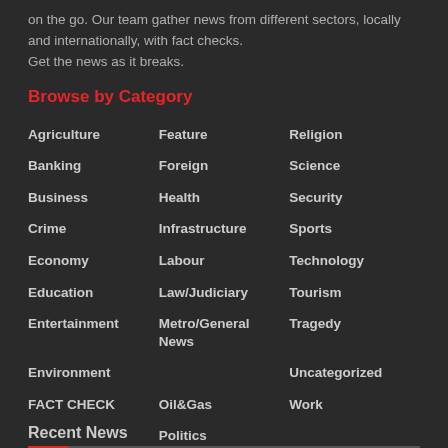on the go. Our team gather news from different sectors, locally and internationally, with fact checks.
Get the news as it breaks.
Browse by Category
Agriculture
Feature
Religion
Banking
Foreign
Science
Business
Health
Security
Crime
Infrastructure
Sports
Economy
Labour
Technology
Education
Law/Judiciary
Tourism
Entertainment
Metro/General News
Tragedy
Environment
Uncategorized
FACT CHECK
Oil&Gas
Work
Politics
Recent News